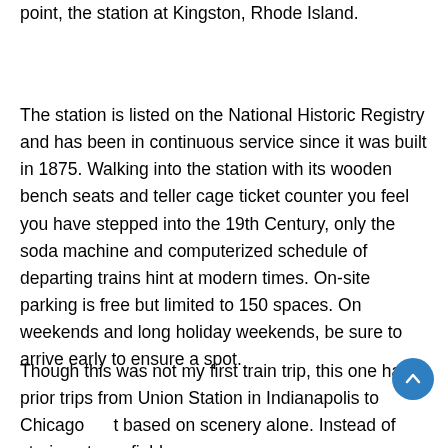point, the station at Kingston, Rhode Island.
The station is listed on the National Historic Registry and has been in continuous service since it was built in 1875. Walking into the station with its wooden bench seats and teller cage ticket counter you feel you have stepped into the 19th Century, only the soda machine and computerized schedule of departing trains hint at modern times. On-site parking is free but limited to 150 spaces. On weekends and long holiday weekends, be sure to arrive early to ensure a spot.
Though this was not my first train trip, this one had prior trips from Union Station in Indianapolis to Chicago beat based on scenery alone. Instead of staring at cornfields